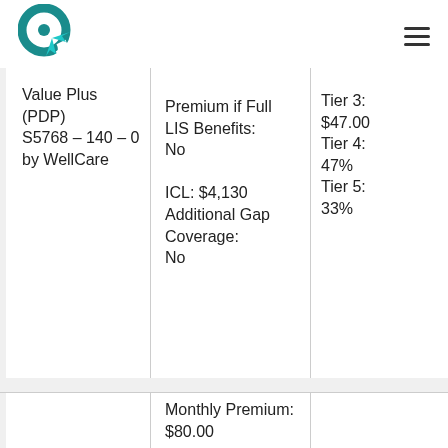Logo and navigation header
| Plan | Plan Details | Cost Sharing |
| --- | --- | --- |
| Value Plus (PDP) S5768 – 140 – 0 by WellCare | Premium if Full LIS Benefits: No
ICL: $4,130
Additional Gap Coverage: No | Tier 3: $47.00
Tier 4: 47%
Tier 5: 33% |
| Blue Cross MedicareRx Value (PDP) | Monthly Premium: $80.00
Annual Deductible: $445
Zero | Tier 1: $0.00
Tier 2: $8.00 |